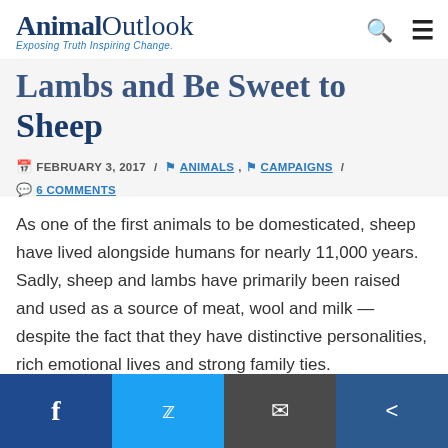Animal Outlook — Exposing Truth Inspiring Change
Lambs and Be Sweet to Sheep
FEBRUARY 3, 2017 / ANIMALS, CAMPAIGNS / 6 COMMENTS
As one of the first animals to be domesticated, sheep have lived alongside humans for nearly 11,000 years. Sadly, sheep and lambs have primarily been raised and used as a source of meat, wool and milk — despite the fact that they have distinctive personalities, rich emotional lives and strong family ties.
Facebook | Twitter | Email | Share